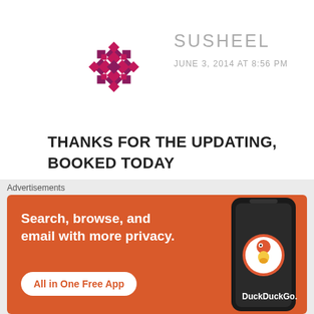[Figure (logo): Purple/maroon geometric diamond pattern avatar for user Susheel]
SUSHEEL
JUNE 3, 2014 AT 8:56 PM
THANKS FOR THE UPDATING, BOOKED TODAY
★ Like
REPLY
[Figure (screenshot): Partially visible next comment with teal arrow/logo avatar]
Advertisements
[Figure (screenshot): DuckDuckGo advertisement banner: Search, browse, and email with more privacy. All in One Free App. Shows phone with DuckDuckGo logo.]